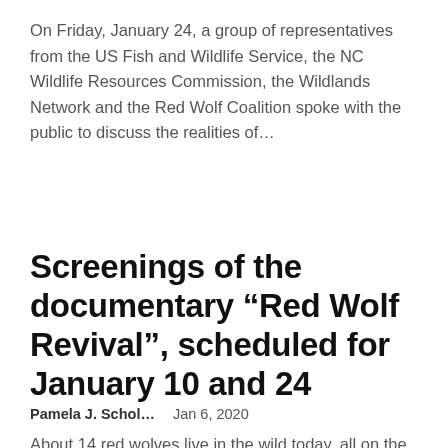On Friday, January 24, a group of representatives from the US Fish and Wildlife Service, the NC Wildlife Resources Commission, the Wildlands Network and the Red Wolf Coalition spoke with the public to discuss the realities of…
Screenings of the documentary “Red Wolf Revival”, scheduled for January 10 and 24
Pamela J. Schol…    Jan 6, 2020
About 14 red wolves live in the wild today, all on the North